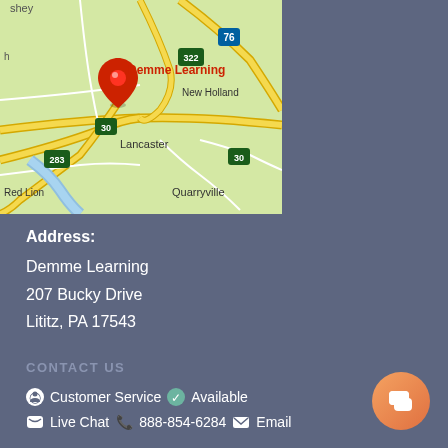[Figure (map): Google Maps view showing Demme Learning location near Lancaster, PA with a red map pin marker labeled 'Demme Learning'. Surrounding area shows roads including Route 30, 283, 322, 76, New Holland, Lancaster, Red Lion, and Quarryville.]
Address:
Demme Learning
207 Bucky Drive
Lititz, PA 17543
CONTACT US
Customer Service  Available
Live Chat  888-854-6284  Email